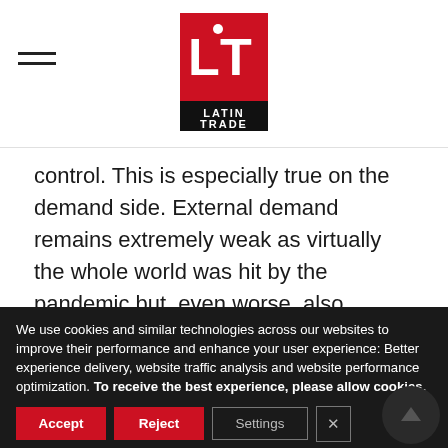[Figure (logo): Latin Trade logo — red square with white LT letters and 'LATIN TRADE' text below]
control. This is especially true on the demand side. External demand remains extremely weak as virtually the whole world was hit by the pandemic but, even worse, also domestic demand is, as the meager retail sales clearly indicate, together with the looming deflationary pressures.
We use cookies and similar technologies across our websites to improve their performance and enhance your user experience: Better experience delivery, website traffic analysis and website performance optimization. To receive the best experience, please allow cookies.